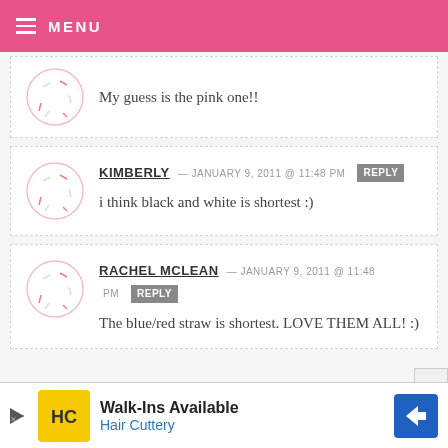MENU
My guess is the pink one!!
KIMBERLY — JANUARY 9, 2011 @ 11:48 PM REPLY
i think black and white is shortest :)
RACHEL MCLEAN — JANUARY 9, 2011 @ 11:48 PM REPLY
The blue/red straw is shortest. LOVE THEM ALL! :)
[Figure (infographic): Advertisement banner: Walk-Ins Available, Hair Cuttery, with HC logo and blue arrow sign]